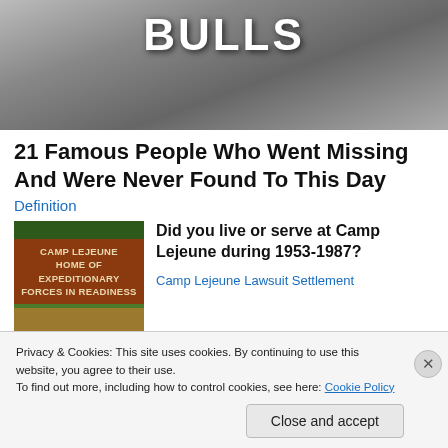[Figure (photo): Black and white photo of a person wearing a Chicago Bulls basketball jersey]
21 Famous People Who Went Missing And Were Never Found To This Day
Definition
[Figure (photo): Photo of Camp Lejeune entrance sign on a brick monument reading CAMP LEJEUNE HOME OF EXPEDITIONARY FORCES IN READINESS]
Did you live or serve at Camp Lejeune during 1953-1987?
Camp Lejeune Lawsuit Settlement
Privacy & Cookies: This site uses cookies. By continuing to use this website, you agree to their use.
To find out more, including how to control cookies, see here: Cookie Policy